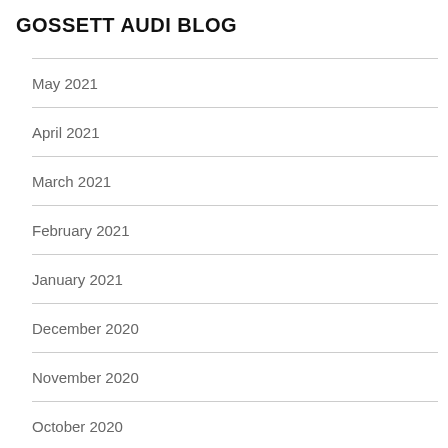GOSSETT AUDI BLOG
May 2021
April 2021
March 2021
February 2021
January 2021
December 2020
November 2020
October 2020
September 2020
August 2020